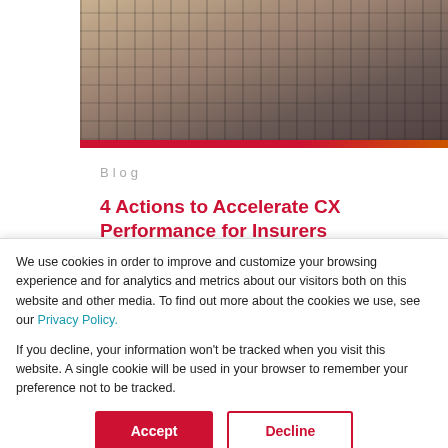[Figure (photo): Overhead photo of a laptop computer with a person's hands, showing the keyboard from above]
Blog
4 Actions to Accelerate CX Performance for Insurers
For insurers, improving customer experience and service quality is not
We use cookies in order to improve and customize your browsing experience and for analytics and metrics about our visitors both on this website and other media. To find out more about the cookies we use, see our Privacy Policy.

If you decline, your information won't be tracked when you visit this website. A single cookie will be used in your browser to remember your preference not to be tracked.